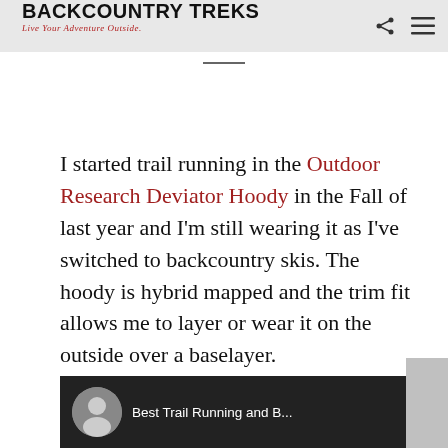BACKCOUNTRY TREKS — Live Your Adventure Outside.
I started trail running in the Outdoor Research Deviator Hoody in the Fall of last year and I'm still wearing it as I've switched to backcountry skis. The hoody is hybrid mapped and the trim fit allows me to layer or wear it on the outside over a baselayer.
[Figure (screenshot): Video thumbnail showing 'Best Trail Running and B...' with a person avatar and three-dot menu icon on dark background]